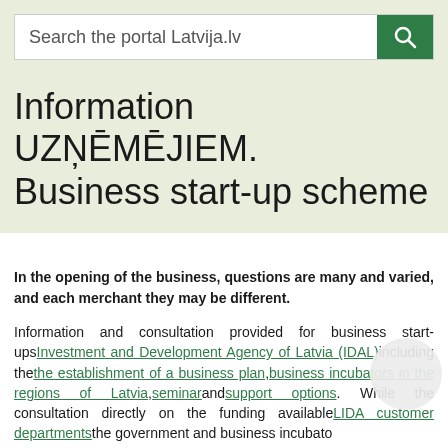Search the portal Latvija.lv
Information UZŅĒMĒJIEM. Business start-up scheme
In the opening of the business, questions are many and varied, and each merchant they may be different.
Information and consultation provided for business start-ups Investment and Development Agency of Latvia (IDAL) including the the establishment of a business plan, business incubators in the regions of Latvia, seminar and support options. While the consultation directly on the funding available LIDA customer departments the government and business incubato
The company name